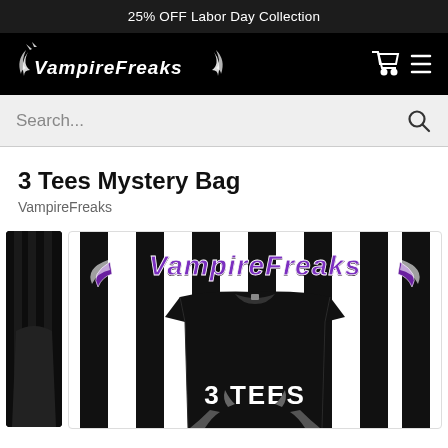25% OFF Labor Day Collection
[Figure (logo): VampireFreaks gothic logo in white on black navigation bar with cart and menu icons]
Search...
3 Tees Mystery Bag
VampireFreaks
[Figure (photo): VampireFreaks 3 Tees Mystery Bag product image showing a black t-shirt with VampireFreaks logo in purple on a black and white striped background, with '3 TEES' text and decorative wing/horn motifs]